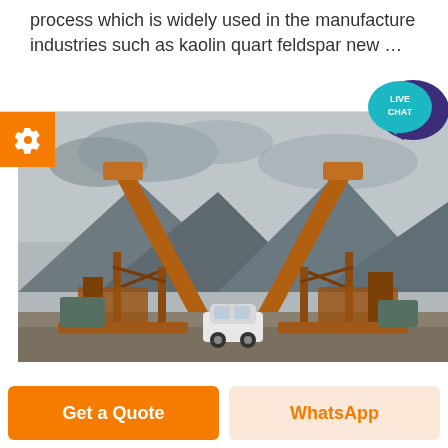process which is widely used in the manufacture industries such as kaolin quart feldspar new …
[Figure (photo): Industrial mining/crushing facility with two large orange conveyor belt structures forming a V-shape, mountains in the background, overcast sky, and a white car in the foreground.]
Get a Quote
WhatsApp